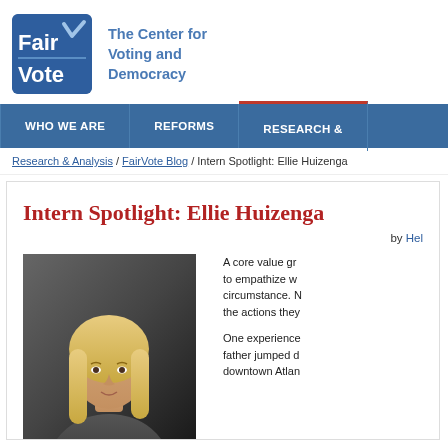[Figure (logo): FairVote logo - blue rounded square with 'Fair Vote' text and checkmark, next to tagline 'The Center for Voting and Democracy']
WHO WE ARE | REFORMS | RESEARCH &
Research & Analysis / FairVote Blog / Intern Spotlight: Ellie Huizenga
Intern Spotlight: Ellie Huizenga
by Hel
[Figure (photo): Photo of Ellie Huizenga, a woman with blonde hair against a dark background]
A core value gr... to empathize w... circumstance. N... the actions they...
One experience... father jumped d... downtown Atlan...